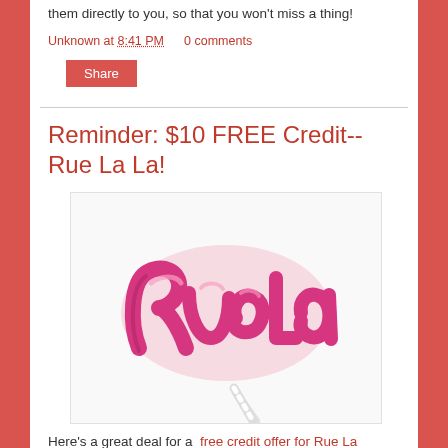them directly to you, so that you won't miss a thing!
Unknown at 8:41 PM   0 comments
Share
Reminder: $10 FREE Credit--Rue La La!
[Figure (photo): A pink lollipop candy shaped in cursive script spelling 'Rue La La' on a white stick, against a white background.]
Here's a great deal for a  free credit offer for Rue La